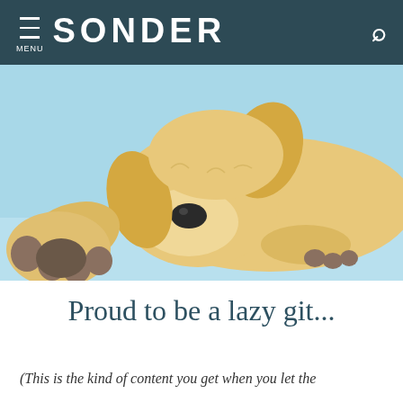≡ MENU  SONDER  🔍
[Figure (photo): A sleeping golden retriever puppy lying on a light blue background, with paws visible and eyes closed, photographed close-up]
Proud to be a lazy git...
(This is the kind of content you get when you let the